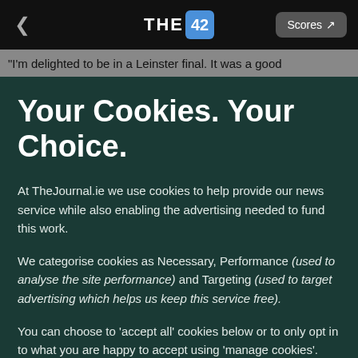THE 42 | Scores
"I'm delighted to be in a Leinster final. It was a good
Your Cookies. Your Choice.
At TheJournal.ie we use cookies to help provide our news service while also enabling the advertising needed to fund this work.
We categorise cookies as Necessary, Performance (used to analyse the site performance) and Targeting (used to target advertising which helps us keep this service free).
You can choose to 'accept all' cookies below or to only opt in to what you are happy to accept using 'manage cookies'. You can also change your cookie settings at any time and learn more about how we use cookies in our Privacy Policy